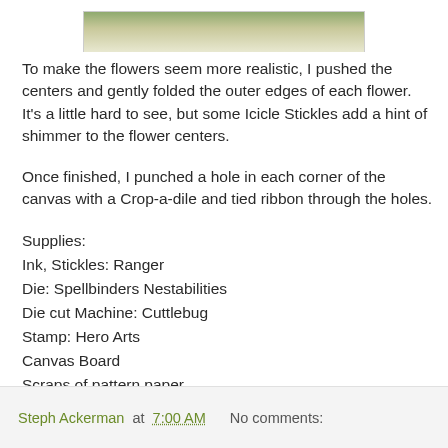[Figure (photo): Partial photo of a crafted canvas with flowers, shown at top of page cropped]
To make the flowers seem more realistic, I pushed the centers and gently folded the outer edges of each flower.  It's a little hard to see, but some Icicle Stickles add a hint of shimmer to the flower centers.
Once finished, I punched a hole in each corner of the canvas with a Crop-a-dile and tied ribbon through the holes.
Supplies:
Ink, Stickles: Ranger
Die: Spellbinders Nestabilities
Die cut Machine: Cuttlebug
Stamp: Hero Arts
Canvas Board
Scraps of pattern paper
Steph Ackerman at 7:00 AM   No comments: